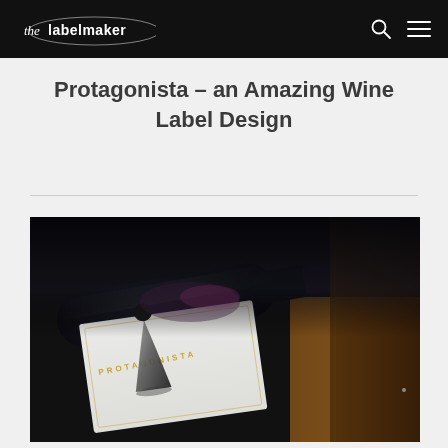the labelmaker
Protagonista – an Amazing Wine Label Design
[Figure (photo): Close-up photo of a wine bottle lying on its side showing a white label with 'PROTAGONISTA' text in gold/copper lettering and a stylized figure design, with a wine glass visible in the background on a wooden surface. Dark atmospheric lighting.]